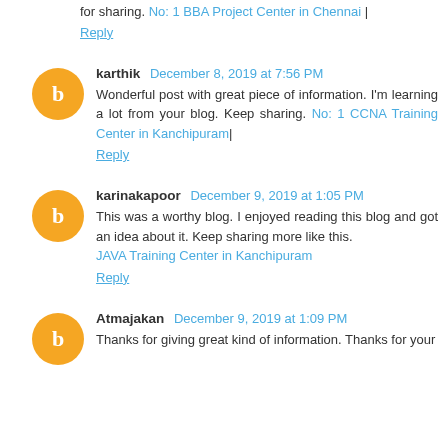for sharing. No: 1 BBA Project Center in Chennai |
Reply
karthik  December 8, 2019 at 7:56 PM
Wonderful post with great piece of information. I'm learning a lot from your blog. Keep sharing. No: 1 CCNA Training Center in Kanchipuram|
Reply
karinakapoor  December 9, 2019 at 1:05 PM
This was a worthy blog. I enjoyed reading this blog and got an idea about it. Keep sharing more like this. JAVA Training Center in Kanchipuram
Reply
Atmajakan  December 9, 2019 at 1:09 PM
Thanks for giving great kind of information. Thanks for your